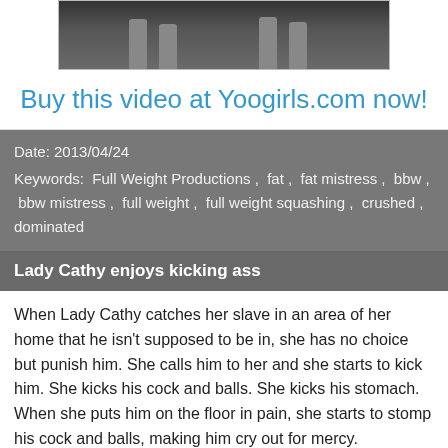[Figure (photo): Top portion of a video thumbnail showing feet/legs, partially visible]
Buy this video at Yoogirls.com now!
Date: 2013/04/24
Keywords:  Full Weight Productions ,  fat ,  fat mistress ,  bbw ,  bbw mistress ,  full weight ,  full weight squashing ,  crushed ,  dominated
Lady Cathy enjoys kicking ass
When Lady Cathy catches her slave in an area of her home that he isn't supposed to be in, she has no choice but punish him. She calls him to her and she starts to kick him. She kicks his cock and balls. She kicks his stomach. When she puts him on the floor in pain, she starts to stomp his cock and balls, making him cry out for mercy.
[Figure (photo): Bottom portion of a video thumbnail showing a room interior scene]